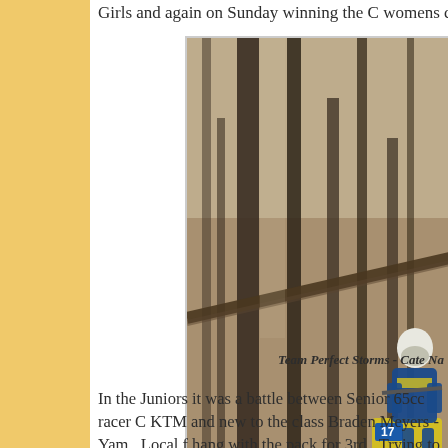Girls and again on Sunday winning the C womens class.
[Figure (photo): A motocross rider wearing a blue and yellow jersey with number 17, riding a yellow dirt bike through a wooded trail with trees and leaf-covered ground.]
Team Perfect Storms - Cate Na
In the Juniors it was a battle between Senior 65cc racer C KTM and new to the class Braden Meyers - Yam.  Local f hang with the pack for 3rd.  Trying to get to the podium w